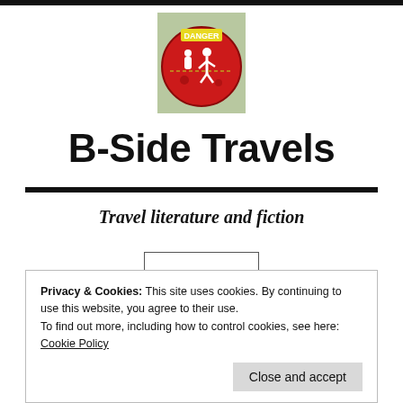[Figure (photo): Red circular danger sign with white pedestrian figure, yellow top edge, outdoor setting]
B-Side Travels
Travel literature and fiction
Privacy & Cookies: This site uses cookies. By continuing to use this website, you agree to their use.
To find out more, including how to control cookies, see here: Cookie Policy
(ID): She Called it